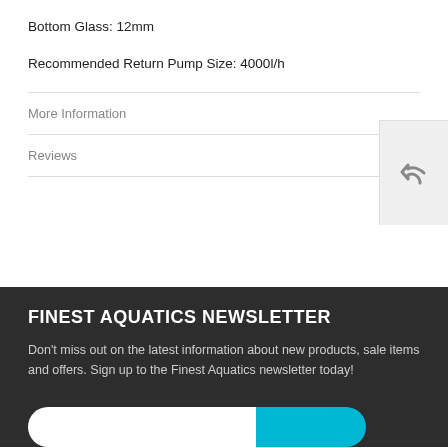Bottom Glass: 12mm
Recommended Return Pump Size: 4000l/h
More Information
Reviews
FINEST AQUATICS NEWSLETTER
Don't miss out on the latest information about new products, sale items and offers. Sign up to the Finest Aquatics newsletter today!